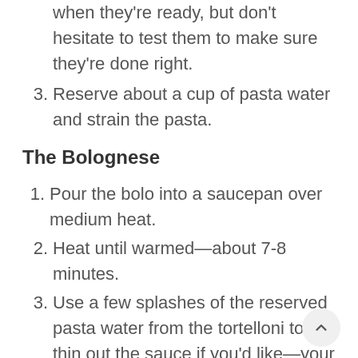when they're ready, but don't hesitate to test them to make sure they're done right.
3. Reserve about a cup of pasta water and strain the pasta.
The Bolognese
1. Pour the bolo into a saucepan over medium heat.
2. Heat until warmed—about 7-8 minutes.
3. Use a few splashes of the reserved pasta water from the tortelloni to thin out the sauce if you'd like—your call!
The Salad